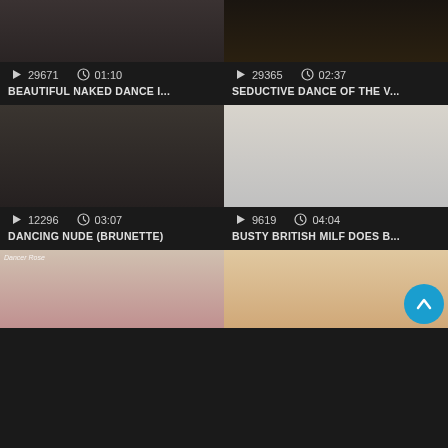[Figure (screenshot): Video thumbnail grid showing 6 video cards in 2 columns. Each card has a thumbnail image, play count, duration, and title. Row 1: 'BEAUTIFUL NAKED DANCE I...' (29671 views, 01:10) and 'SEDUCTIVE DANCE OF THE V...' (29365 views, 02:37). Row 2: 'DANCING NUDE (BRUNETTE)' (12296 views, 03:07) and 'BUSTY BRITISH MILF DOES B...' (9619 views, 04:04). Row 3: two more partial thumbnails with a scroll-to-top button.]